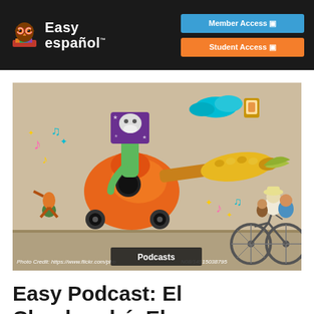Easy español — Member Access | Student Access
[Figure (photo): Colorful mural on a wall showing a fantastical scene with a guitar-corn hybrid creature on wheels, a green figure with a purple box head, musical notes, and a family of three riding a bicycle in front of the mural. Photo Credit: https://www.flickr.com/pho...N08/14515038795]
Photo Credit: https://www.flickr.com/pho...N08/14515038795
Podcasts
Easy Podcast: El Chuchumbé, El